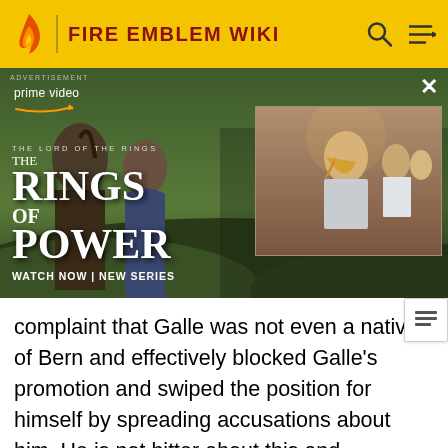FIRE EMBLEM WIKI
[Figure (photo): Amazon Prime Video advertisement for 'The Lord of the Rings: The Rings of Power' series with text 'WATCH NOW | NEW SERIES']
complaint that Galle was not even a native of Bern and effectively blocked Galle's promotion and swiped the position for himself by spreading accusations about him. He is not bitter about this and continues to serve Zephiel faithfully. Before Narcian is dishonorably demoted and killed, Galle serves as Murdock's lieutenant, and becomes the third Wyvern General afterwards. In Chapter 21, he appears with a squad of Wyvern Riders to aid Murdock in fighting against Roy's army, but ultimately dies in battle